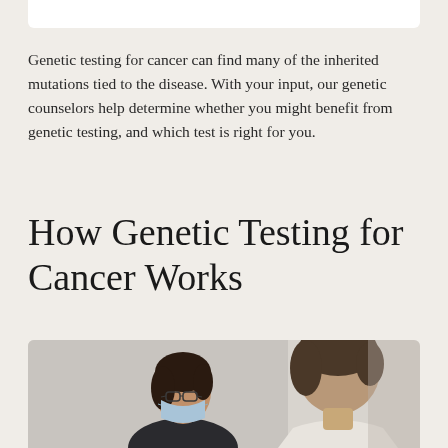Genetic testing for cancer can find many of the inherited mutations tied to the disease. With your input, our genetic counselors help determine whether you might benefit from genetic testing, and which test is right for you.
How Genetic Testing for Cancer Works
[Figure (photo): A genetic counselor wearing a face mask and glasses speaks with a patient, viewed from behind, in a clinical setting.]